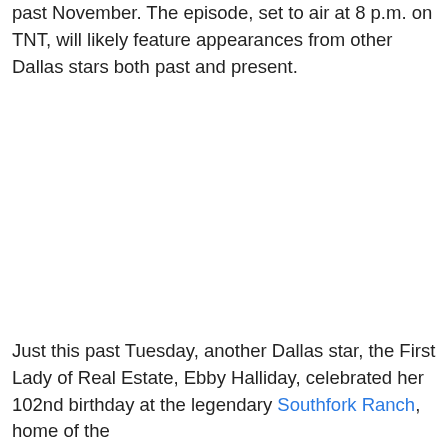past November. The episode, set to air at 8 p.m. on TNT, will likely feature appearances from other Dallas stars both past and present.
Just this past Tuesday, another Dallas star, the First Lady of Real Estate, Ebby Halliday, celebrated her 102nd birthday at the legendary Southfork Ranch, home of the